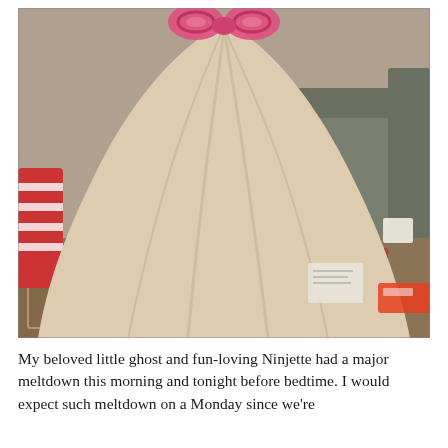[Figure (photo): A child dressed in a ghost costume made from a large pale beige/cream fleece blanket draped over them, with pink decorative loops at the top resembling a bow or Hello Kitty ears. The child is standing in a living room with a couch visible in the background, toys on the floor, and striped red and white leggings visible at the bottom of the costume.]
My beloved little ghost and fun-loving Ninjette had a major meltdown this morning and tonight before bedtime. I would expect such meltdown on a Monday since we're